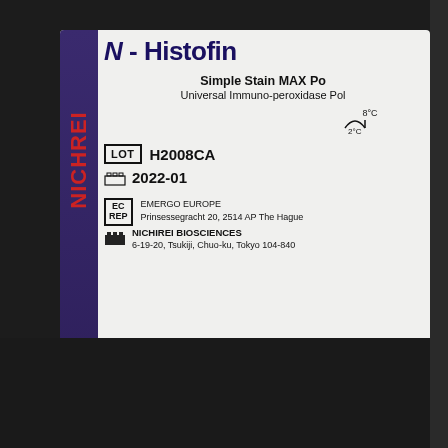[Figure (photo): Product label on a dark reagent box. NICHIREI brand in red on a purple vertical stripe, 'N-Histofine' product name partially visible, 'Simple Stain MAX Po...' and 'Universal Immuno-peroxidase Po...' subtitle, LOT H2008CA, date 2022-01, EC REP EMERGO EUROPE address, NICHIREI BIOSCIENCES address Tokyo.]